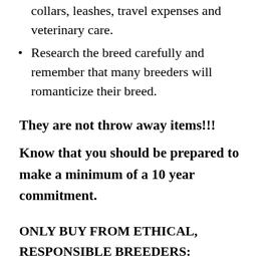collars, leashes, travel expenses and veterinary care.
Research the breed carefully and remember that many breeders will romanticize their breed.
They are not throw away items!!!
Know that you should be prepared to make a minimum of a 10 year commitment.
ONLY BUY FROM ETHICAL, RESPONSIBLE BREEDERS:
An Ethical breeder is one who breeds